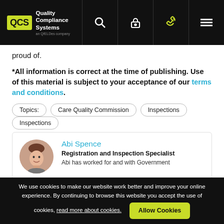QCS Quality Compliance Systems
proud of.
*All information is correct at the time of publishing. Use of this material is subject to your acceptance of our terms and conditions.
Topics:
Care Quality Commission
Inspections
Inspections
Abi Spence
Registration and Inspection Specialist
Abi has worked for and with Government
We use cookies to make our website work better and improve your online experience. By continuing to browse this website you accept the use of cookies, read more about cookies. Allow Cookies